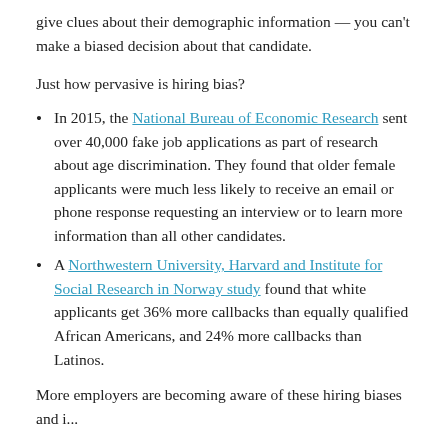give clues about their demographic information — you can't make a biased decision about that candidate.
Just how pervasive is hiring bias?
In 2015, the National Bureau of Economic Research sent over 40,000 fake job applications as part of research about age discrimination. They found that older female applicants were much less likely to receive an email or phone response requesting an interview or to learn more information than all other candidates.
A Northwestern University, Harvard and Institute for Social Research in Norway study found that white applicants get 36% more callbacks than equally qualified African Americans, and 24% more callbacks than Latinos.
More employers are becoming aware of these hiring biases and i...